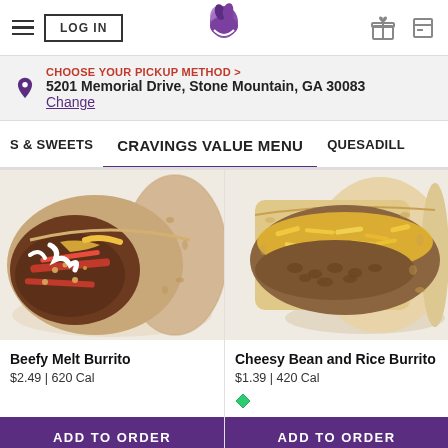LOG IN | Taco Bell | Gift | Card
CHOOSE YOUR PICKUP METHOD > 5201 Memorial Drive, Stone Mountain, GA 30083 Change
S & SWEETS | CRAVINGS VALUE MENU | QUESADILL
[Figure (photo): Beefy Melt Burrito product photo showing a burrito cut open with beef, sour cream, and red strips inside]
Beefy Melt Burrito
$2.49 | 620 Cal
ADD TO ORDER
[Figure (photo): Cheesy Bean and Rice Burrito product photo showing a burrito with cheese and beans visible]
Cheesy Bean and Rice Burrito
$1.39 | 420 Cal
ADD TO ORDER